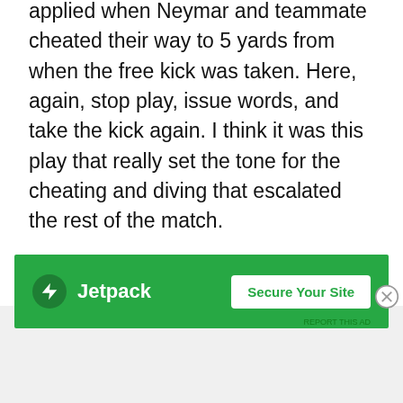applied when Neymar and teammate cheated their way to 5 yards from when the free kick was taken. Here, again, stop play, issue words, and take the kick again. I think it was this play that really set the tone for the cheating and diving that escalated the rest of the match.
And finally at 44 a yellow should have been immediate for the studs showing tackle on Hulk but again there was no response by the ref.
And the second half just got worse
[Figure (other): Jetpack advertisement banner with green background, Jetpack logo and 'Secure Your Site' button]